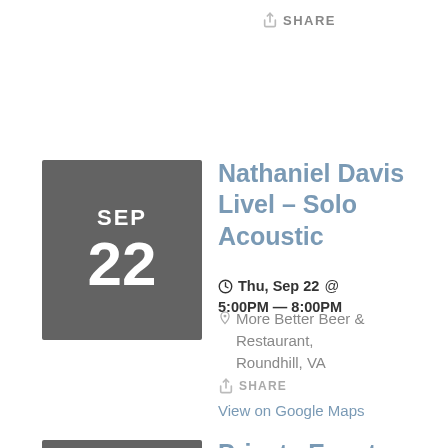SHARE
Nathaniel Davis Livel - Solo Acoustic
Thu, Sep 22 @ 5:00PM — 8:00PM
More Better Beer & Restaurant, Roundhill, VA
SHARE
View on Google Maps
Private Event
Fri, Sep 23